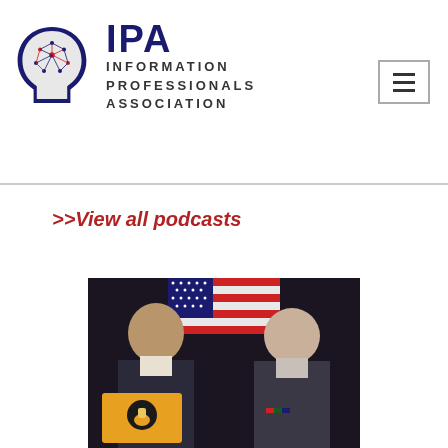IPA Information Professionals Association
>>View all podcasts
[Figure (photo): Two military/government officials in formal attire posed in front of American flags, with a podcast logo overlay in the lower left corner]